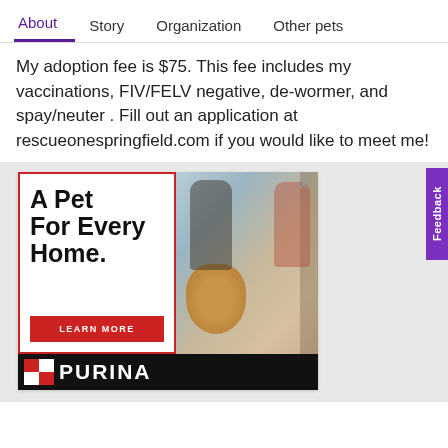About   Story   Organization   Other pets
My adoption fee is $75. This fee includes my vaccinations, FIV/FELV negative, de-wormer, and spay/neuter . Fill out an application at rescueonespringfield.com if you would like to meet me!
[Figure (photo): Purina advertisement showing two people with a golden doodle puppy at a pet store, with bold text 'A Pet For Every Home.' and a red 'LEARN MORE' button, Purina logo at bottom.]